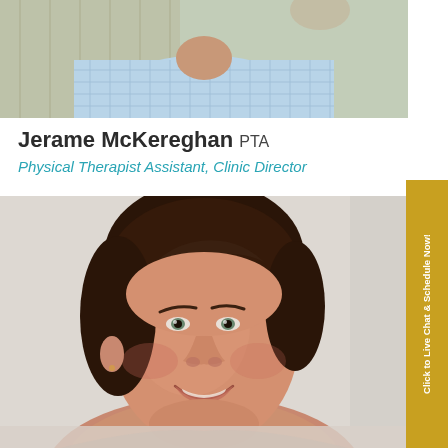[Figure (photo): Partial photo of a person wearing a light blue checkered shirt, cropped to show torso only]
Jerame McKereghan PTA
Physical Therapist Assistant, Clinic Director
[Figure (photo): Portrait photo of a woman with short dark hair, smiling, leaning against a light-colored wall]
Click to Live Chat & Schedule Now!